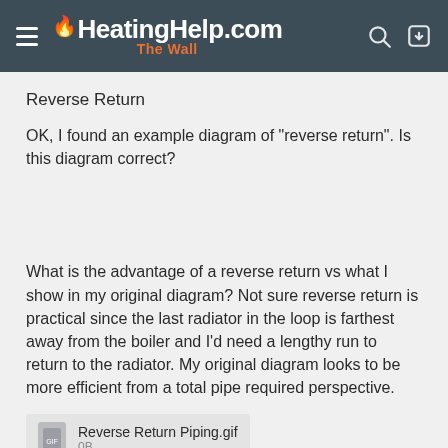HeatingHelp.com The Wall
Reverse Return
OK, I found an example diagram of "reverse return". Is this diagram correct?
What is the advantage of a reverse return vs what I show in my original diagram? Not sure reverse return is practical since the last radiator in the loop is farthest away from the boiler and I'd need a lengthy run to return to the radiator. My original diagram looks to be more efficient from a total pipe required perspective.
Reverse Return Piping.gif
0B